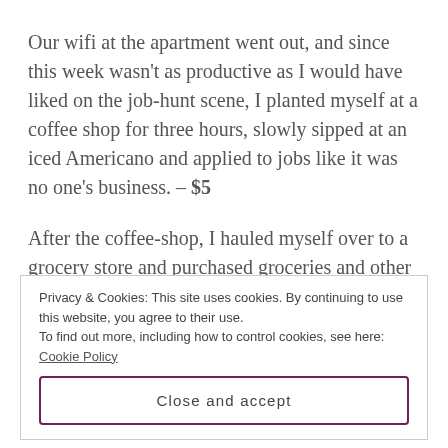Our wifi at the apartment went out, and since this week wasn't as productive as I would have liked on the job-hunt scene, I planted myself at a coffee shop for three hours, slowly sipped at an iced Americano and applied to jobs like it was no one's business. – $5
After the coffee-shop, I hauled myself over to a grocery store and purchased groceries and other
Privacy & Cookies: This site uses cookies. By continuing to use this website, you agree to their use.
To find out more, including how to control cookies, see here: Cookie Policy
Close and accept